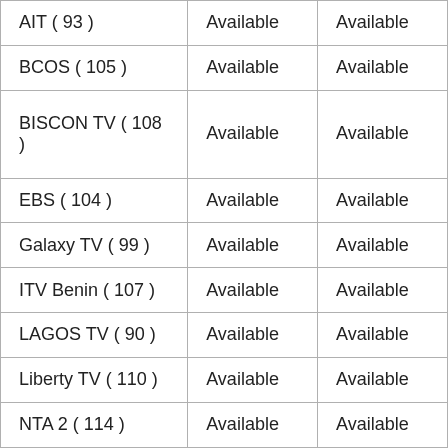| AIT ( 93 ) | Available | Available |
| BCOS ( 105 ) | Available | Available |
| BISCON TV ( 108 ) | Available | Available |
| EBS ( 104 ) | Available | Available |
| Galaxy TV ( 99 ) | Available | Available |
| ITV Benin ( 107 ) | Available | Available |
| LAGOS TV ( 90 ) | Available | Available |
| Liberty TV ( 110 ) | Available | Available |
| NTA 2 ( 114 ) | Available | Available |